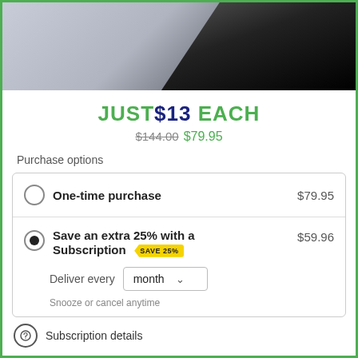[Figure (photo): Product image showing dark athletic gear/shoe against light gray background]
JUST$13 EACH
$144.00  $79.95
Purchase options
One-time purchase  $79.95
Save an extra 25% with a Subscription  SAVE 25%  $59.96
Deliver every  month
Snooze or cancel anytime
Subscription details